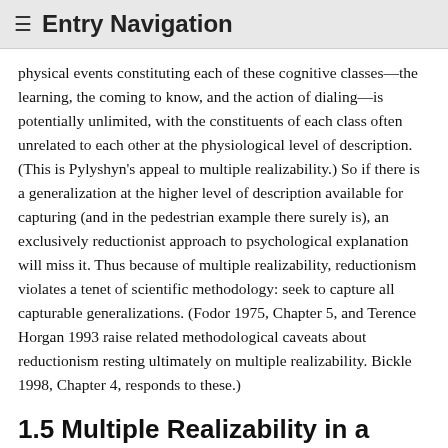≡  Entry Navigation
physical events constituting each of these cognitive classes—the learning, the coming to know, and the action of dialing—is potentially unlimited, with the constituents of each class often unrelated to each other at the physiological level of description. (This is Pylyshyn's appeal to multiple realizability.) So if there is a generalization at the higher level of description available for capturing (and in the pedestrian example there surely is), an exclusively reductionist approach to psychological explanation will miss it. Thus because of multiple realizability, reductionism violates a tenet of scientific methodology: seek to capture all capturable generalizations. (Fodor 1975, Chapter 5, and Terence Horgan 1993 raise related methodological caveats about reductionism resting ultimately on multiple realizability. Bickle 1998, Chapter 4, responds to these.)
1.5 Multiple Realizability in a Token System Over Times